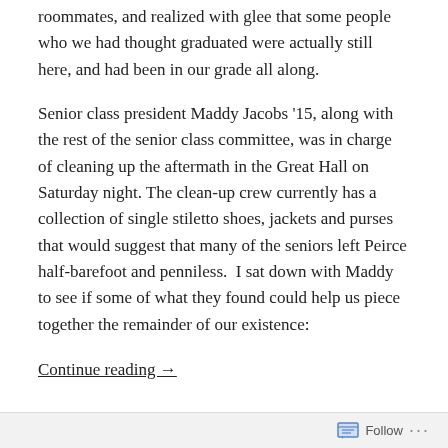roommates, and realized with glee that some people who we had thought graduated were actually still here, and had been in our grade all along.
Senior class president Maddy Jacobs '15, along with the rest of the senior class committee, was in charge of cleaning up the aftermath in the Great Hall on Saturday night. The clean-up crew currently has a collection of single stiletto shoes, jackets and purses that would suggest that many of the seniors left Peirce half-barefoot and penniless.  I sat down with Maddy to see if some of what they found could help us piece together the remainder of our existence:
Continue reading →
WHERE AM I?
Welcome to The Thrill, Kenyon College's go-to source for news and entertainment.
Follow